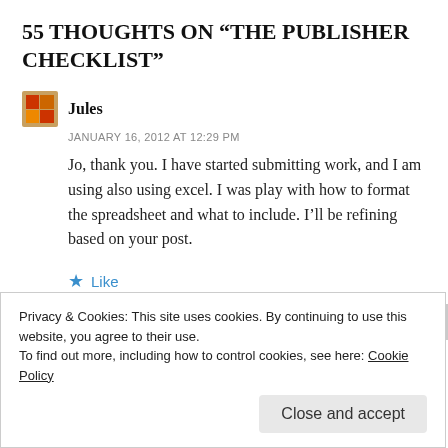55 THOUGHTS ON “THE PUBLISHER CHECKLIST”
Jules
JANUARY 16, 2012 AT 12:29 PM
Jo, thank you. I have started submitting work, and I am using also using excel. I was play with how to format the spreadsheet and what to include. I’ll be refining based on your post.
★ Like
↵ REPLY
Privacy & Cookies: This site uses cookies. By continuing to use this website, you agree to their use.
To find out more, including how to control cookies, see here: Cookie Policy
Close and accept